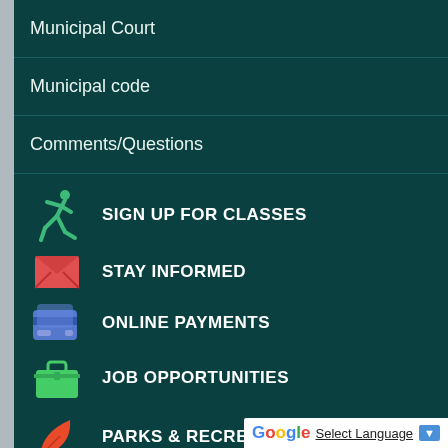Municipal Court
Municipal code
Comments/Questions
SIGN UP FOR CLASSES
STAY INFORMED
ONLINE PAYMENTS
JOB OPPORTUNITIES
PARKS & RECREATION
Select Language